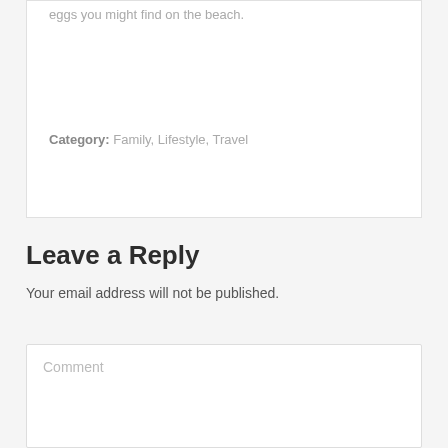eggs you might find on the beach.
Category: Family, Lifestyle, Travel
Leave a Reply
Your email address will not be published.
Comment